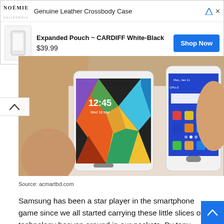[Figure (screenshot): Advertisement banner for NOÉMIE California Genuine Leather Crossbody Case. Shows logo, product name 'Expanded Pouch ~ CARDIFF White-Black', price $39.99, product thumbnail, and a blue 'Shop Now' button.]
[Figure (photo): Photograph of two Samsung smartphones being held by hands. The left phone shows a colorful geometric wallpaper with time 12:45. The right phone shows the Android home screen with app icons.]
Source: acmartbd.com
Samsung has been a star player in the smartphone game since we all started carrying these little slices of technology heaven around in our pockets. By tony bradley, pcworld |